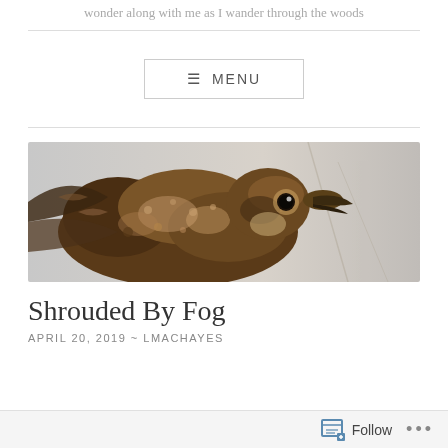wonder along with me as I wander through the woods
[Figure (photo): Close-up photo of a bird (appears to be a grouse or similar bird) with brown mottled feathers, a dark eye, and a hooked beak, against a grey blurred background]
Shrouded By Fog
APRIL 20, 2019 ~ LMACHAYES
Follow ...